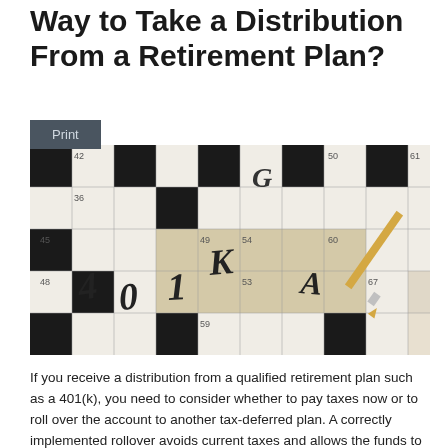Way to Take a Distribution From a Retirement Plan?
[Figure (photo): Close-up photograph of a crossword puzzle with numbers 42, 45, 48, 49, 50, 53, 54, 59, 60, 61, 67 and letters spelling 401K visible, with a pencil/pen resting on the puzzle]
If you receive a distribution from a qualified retirement plan such as a 401(k), you need to consider whether to pay taxes now or to roll over the account to another tax-deferred plan. A correctly implemented rollover avoids current taxes and allows the funds to continue accumulating tax deferred